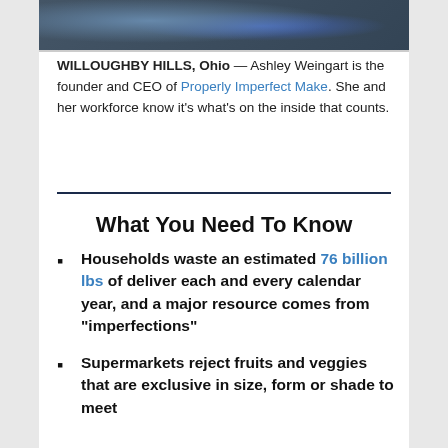[Figure (photo): Cropped photo showing people wearing blue gloves, partially visible at the top of the page]
WILLOUGHBY HILLS, Ohio — Ashley Weingart is the founder and CEO of Properly Imperfect Make. She and her workforce know it's what's on the inside that counts.
What You Need To Know
Households waste an estimated 76 billion lbs of deliver each and every calendar year, and a major resource comes from “imperfections”
Supermarkets reject fruits and veggies that are exclusive in size, form or shade to meet